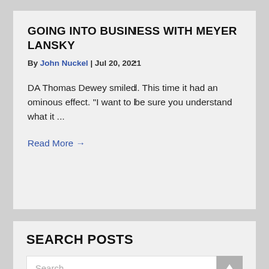GOING INTO BUSINESS WITH MEYER LANSKY
By John Nuckel | Jul 20, 2021
DA Thomas Dewey smiled. This time it had an ominous effect. “I want to be sure you understand what it …
Read More →
SEARCH POSTS
Search